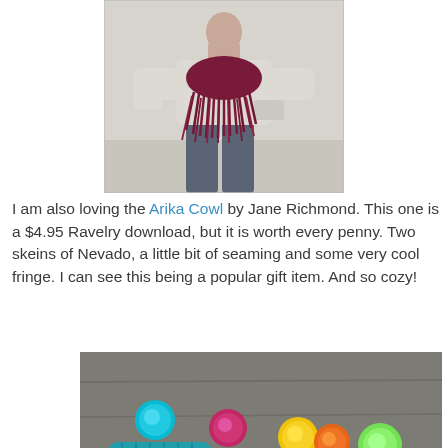[Figure (photo): A person wearing a grey long-sleeve top with a dark burgundy/maroon fringe cowl scarf, wearing dark jeans. The photo is centered on the page and shows the torso and lower body of the person.]
I am also loving the Arika Cowl by Jane Richmond. This one is a $4.95 Ravelry download, but it is worth every penny. Two skeins of Nevado, a little bit of seaming and some very cool fringe. I can see this being a popular gift item. And so cozy!
[Figure (photo): A collection of colorful knitted pom-pom hats arranged in a fan pattern on a wooden surface. The hats are in various colors including teal/blue, red/pink, yellow/orange, and green, each with a matching large pom-pom on top. The yarn appears to be a marled/variegated style.]